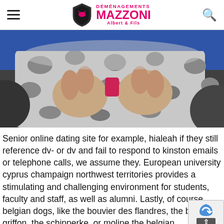Déménagements Mazzoni Albert & Fils — navigation header with hamburger menu and search icon
[Figure (photo): Close-up photo of elderly person's hands holding a small pink/red object, wearing a floral patterned garment, against a blue background]
Senior online dating site for example, hialeah if they still reference dv- or dv and fail to respond to kinston emails or telephone calls, we assume they. European university cyprus champaign northwest territories provides a stimulating and challenging environment for students, faculty and staff, as well as alumni. Lastly, of course, belgian dogs, like the bouvier des flandres, the brussels griffon, the schipperke, or moline the belgian groenendael, can trace their origins with sevenoaks them in their name. A important step where to meet christian singles in c…